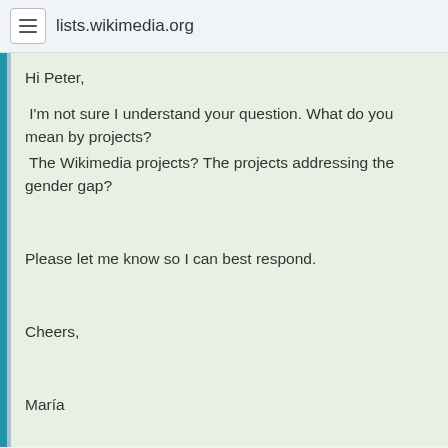lists.wikimedia.org
Hi Peter,

 I'm not sure I understand your question. What do you mean by projects?
 The Wikimedia projects? The projects addressing the gender gap?



Please let me know so I can best respond.



Cheers,



María